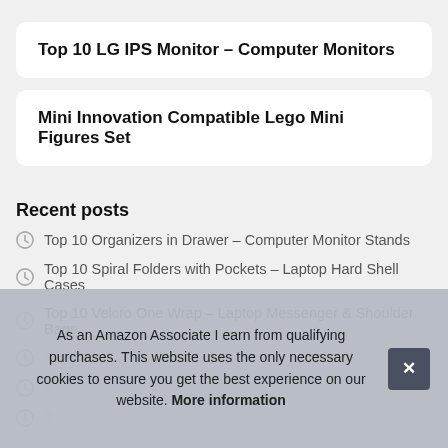Top 10 LG IPS Monitor – Computer Monitors
Mini Innovation Compatible Lego Mini Figures Set
Recent posts
Top 10 Organizers in Drawer – Computer Monitor Stands
Top 10 Spiral Folders with Pockets – Laptop Hard Shell Cases
Top 10 Velcro One Wrap – Laptop Messenger & Shoulder Bags
As an Amazon Associate I earn from qualifying purchases. This website uses the only necessary cookies to ensure you get the best experience on our website. More information